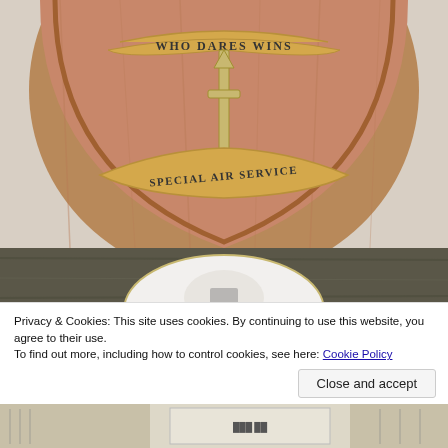[Figure (photo): SAS Special Air Service wooden shield plaque with brass dagger emblem, 'Who Dares Wins' ribbon at top and 'Special Air Service' ribbon at bottom, mounted on wood-grain background]
[Figure (photo): Partial view of a circular white ceramic or enamel plate/badge on dark wood surface]
Privacy & Cookies: This site uses cookies. By continuing to use this website, you agree to their use.
To find out more, including how to control cookies, see here: Cookie Policy
Close and accept
[Figure (photo): Bottom strip showing partial view of collectible items/prints on a surface]